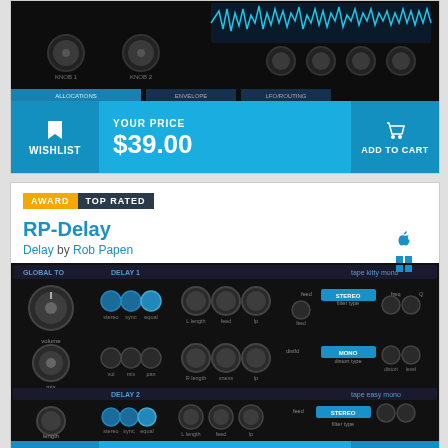[Figure (screenshot): Top portion of a dark-themed audio plugin interface with knobs, showing oscilloscope-style waveform display in blue.]
YOUR PRICE $39.00
WISHLIST
ADD TO CART
AWARD TOP RATED
RP-Delay
Delay by Rob Papen
[Figure (screenshot): RP-Delay plugin interface showing a dark-themed dual delay unit with knobs for volume, mix, length, feedback, stereo, sync, equal, L length, feed, lp, filter type, freq, Q, distfd, distort type, distort, level controls.]
YOUR PRICE